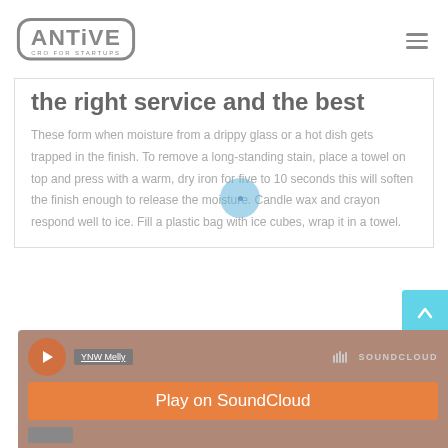ANTIVE CRO FOR STARTUPS
the right service and the best
These form when moisture from a drippy glass or a hot dish gets trapped in the finish. To remove a long-standing stain, place a towel on top and press with a warm, dry iron for five to 10 seconds this will soften the finish enough to release the moisture. Candle wax and crayon respond well to ice. Fill a plastic bag with ice cubes, wrap it in a towel.
[Figure (screenshot): SoundCloud embed widget showing YNW Melly with Play on SoundCloud button]